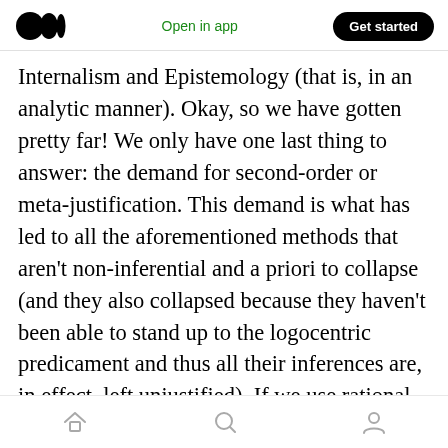Medium logo | Open in app | Get started
Internalism and Epistemology (that is, in an analytic manner). Okay, so we have gotten pretty far! We only have one last thing to answer: the demand for second-order or meta-justification. This demand is what has led to all the aforementioned methods that aren't non-inferential and a priori to collapse (and they also collapsed because they haven't been able to stand up to the logocentric predicament and thus all their inferences are, in effect, left unjustified). If we use rational insight to answer the demand for metajustification then skepticism
Home | Search | Profile